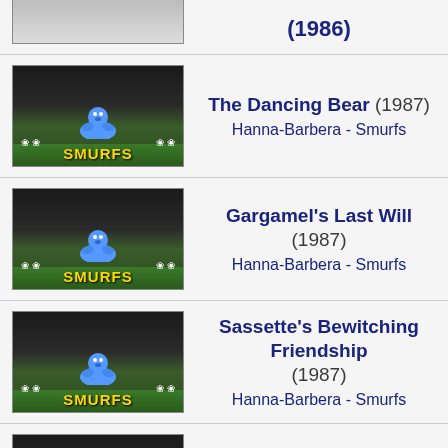(1986)
The Dancing Bear (1987) Hanna-Barbera - Smurfs
Gargamel's Last Will (1987) Hanna-Barbera - Smurfs
Sassette's Bewitching Friendship (1987) Hanna-Barbera - Smurfs
Azrael's Brain (1987) Hanna-Barbera - Smurfs
Castaway Smurfs (1987) Hanna-Barbera - Smurfs